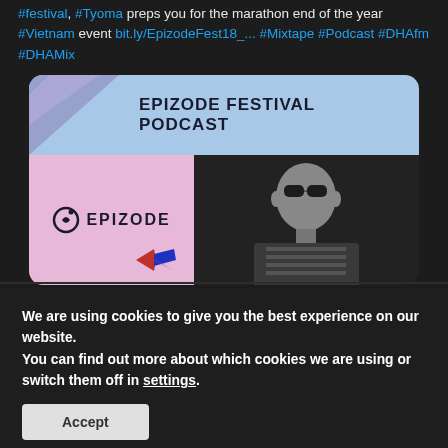#festival, #Tyoma preps you for the marathon end of the year #Vietnam event bit.ly/EpizodeFest18_... #Mixtape #Podcast #DHAfm #DHAMix
[Figure (screenshot): Epizode Festival Podcast card image showing the Epizode logo on a pink background and a man with sunglasses on a dark background, with light blue header reading EPIZODE FESTIVAL PODCAST]
We are using cookies to give you the best experience on our website.
You can find out more about which cookies we are using or switch them off in settings.